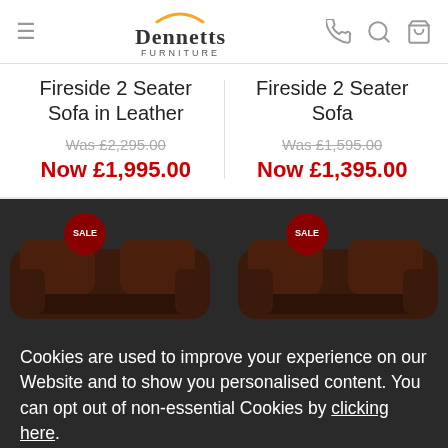Dennetts Furniture
Fireside 2 Seater Sofa in Leather
Was £2,295.00
Now £1,995.00
Fireside 2 Seater Sofa
Was £1,595.00
Now £1,395.00
[Figure (screenshot): Two dark leather recliner sofas with red sale badges, shown in a dark background section]
Cookies are used to improve your experience on our Website and to show you personalised content. You can opt out of non-essential Cookies by clicking here.
Accept And Close
Devon Leather 2 seater sofa
Devon Leather 3 seater sofa